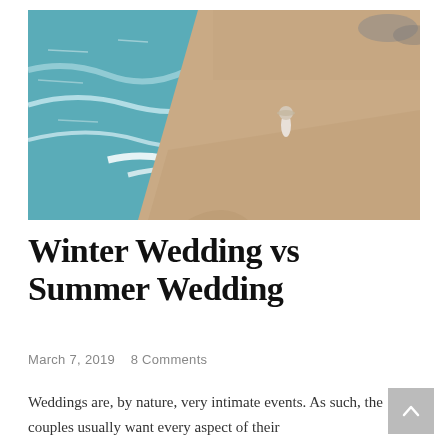[Figure (photo): Aerial view of a sandy beach with turquoise water waves lapping the shore, a person in a white dress and hat standing alone on the beach]
Winter Wedding vs Summer Wedding
March 7, 2019   8 Comments
Weddings are, by nature, very intimate events. As such, the couples usually want every aspect of their